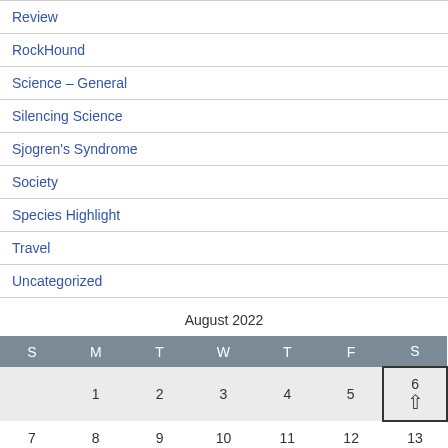Review
RockHound
Science – General
Silencing Science
Sjogren's Syndrome
Society
Species Highlight
Travel
Uncategorized
August 2022
| S | M | T | W | T | F | S |
| --- | --- | --- | --- | --- | --- | --- |
|  | 1 | 2 | 3 | 4 | 5 | 6 ↑ |
| 7 | 8 | 9 | 10 | 11 | 12 | 13 |